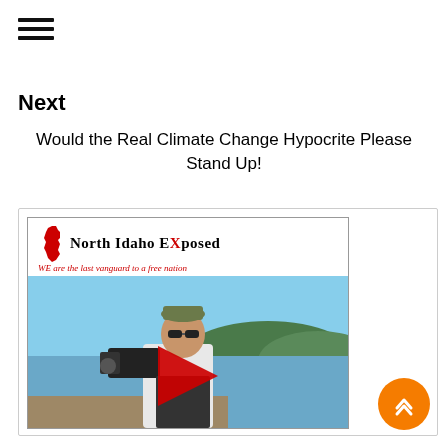≡ (hamburger menu)
Next
Would the Real Climate Change Hypocrite Please Stand Up!
[Figure (screenshot): North Idaho Exposed website screenshot showing logo with Idaho state outline in red, tagline 'WE are the last vanguard to a free nation', and a photo of a man holding a camera with a red play button overlay]